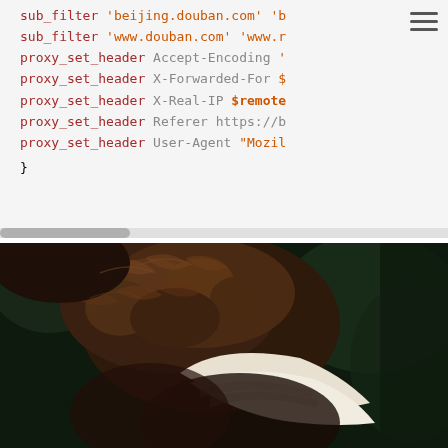[Figure (screenshot): Code block showing nginx config snippet with sub_filter and proxy_set_header directives, partially cut off on right. Keywords in dark red, string values in orange-red, variable references in gray. Horizontal scrollbar at bottom.]
[Figure (photo): Close-up photograph of a bird of prey (eagle or hawk) showing its dark brown back feathers and white wing/tail feathers against a dark green background.]